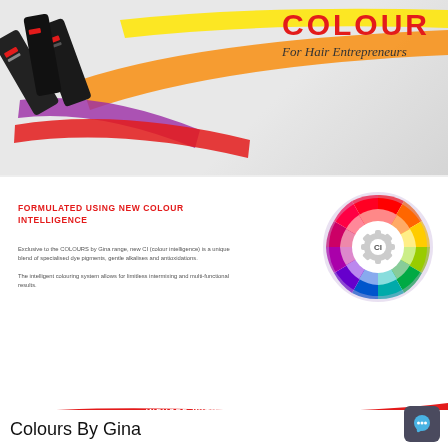COLOUR
For Hair Entrepreneurs
FORMULATED USING NEW COLOUR INTELLIGENCE
Exclusive to the COLOURS by Gina range, new CI (colour intelligence) is a unique blend of specialised dye pigments, gentle alkalises and antioxidations. The intelligent colouring system allows for limitless intermixing and multi-functional results.
[Figure (illustration): Colour wheel / spectrum ring with CI gear icon in the centre, showing rainbow colour segments arranged in a circular pattern]
INFUSED WITH OUR EXCLUSIVE
[Figure (logo): PURE BioGen COMPLEX logo with B7 and molecular icons in white on red background]
BIOTIN
NATURAL VITAMIN FEEDS THE HAIR, IMPROVES HEALTH AND BEAUTY
COLLAGEN
PLANT-BASED COLLAGEN REBUILDS HAIR FROM THE INSIDE OUT
Colours By Gina